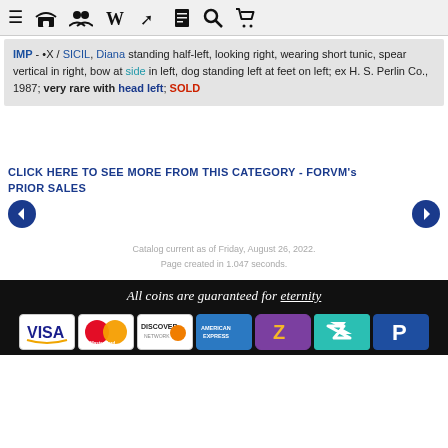Navigation bar with menu, store, community, Wikipedia, arrow, document, search, and cart icons
IMP - •X / SICIL, Diana standing half-left, looking right, wearing short tunic, spear vertical in right, bow at side in left, dog standing left at feet on left; ex H. S. Perlin Co., 1987; very rare with head left; SOLD
CLICK HERE TO SEE MORE FROM THIS CATEGORY - FORVM's PRIOR SALES
Catalog current as of Friday, August 26, 2022.
Page created in 1.047 seconds.
All coins are guaranteed for eternity
[Figure (infographic): Payment method logos: VISA, MasterCard, Discover Network, American Express, Zcash, Transferwise, PayPal]